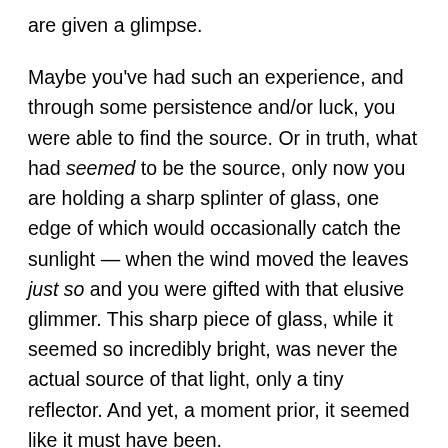are given a glimpse.
Maybe you've had such an experience, and through some persistence and/or luck, you were able to find the source. Or in truth, what had seemed to be the source, only now you are holding a sharp splinter of glass, one edge of which would occasionally catch the sunlight — when the wind moved the leaves just so and you were gifted with that elusive glimmer. This sharp piece of glass, while it seemed so incredibly bright, was never the actual source of that light, only a tiny reflector. And yet, a moment prior, it seemed like it must have been.
For those of us who are religious, whose belief in